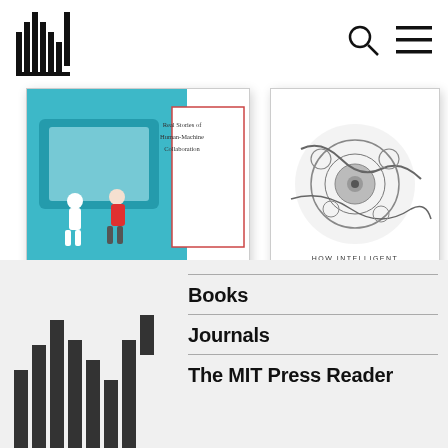[Figure (logo): MIT Press barcode-style logo in header]
[Figure (illustration): Book cover: Real Stories of Human-Machine Collaboration by Thomas H. Davenport and Steven M. Miller, teal/blue illustration of people and machine]
[Figure (illustration): Book cover: How Intelligent Machines Will Shape Our Future by Dario Floreano and Nicola Nosengo, detailed mechanical/biological illustration]
[Figure (logo): MIT Press barcode-style logo in footer, larger version]
Books
Journals
The MIT Press Reader